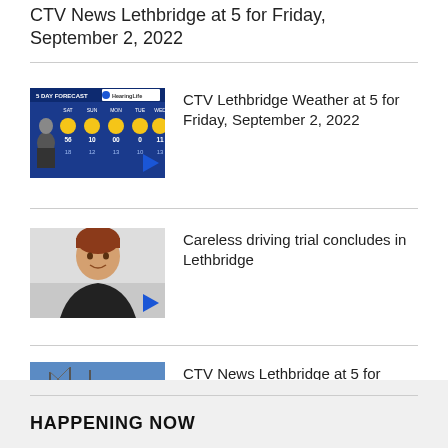CTV News Lethbridge at 5 for Friday, September 2, 2022
[Figure (screenshot): Weather forecast thumbnail showing 5-day forecast with HearingLife ad and weather presenter]
CTV Lethbridge Weather at 5 for Friday, September 2, 2022
[Figure (photo): Photo of a young boy with red hair wearing a black jacket]
Careless driving trial concludes in Lethbridge
[Figure (screenshot): CTV News Lethbridge logo overlay on infrastructure/bridge photo]
CTV News Lethbridge at 5 for Thursday, September 1, 2022
HAPPENING NOW